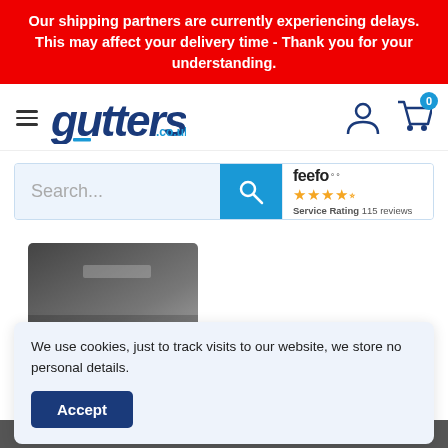Our shipping partners are currently experiencing delays. This may affect your delivery time - Thank you for your understanding.
[Figure (logo): gutters.co.uk logo with hamburger menu, user icon and cart icon with 0 badge]
[Figure (screenshot): Search bar with blue search button and Feefo service rating badge showing 4.5 stars and 115 reviews]
[Figure (photo): Partial product image showing a dark grey/black gutter or pipe component wrapped in plastic]
We use cookies, just to track visits to our website, we store no personal details.
Accept